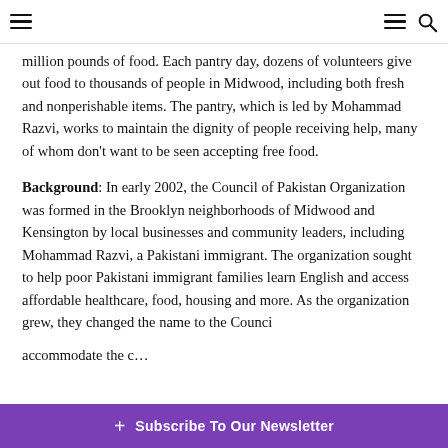[Navigation header with hamburger menu icons and search icon]
million pounds of food. Each pantry day, dozens of volunteers give out food to thousands of people in Midwood, including both fresh and nonperishable items. The pantry, which is led by Mohammad Razvi, works to maintain the dignity of people receiving help, many of whom don't want to be seen accepting free food.
Background: In early 2002, the Council of Pakistan Organization was formed in the Brooklyn neighborhoods of Midwood and Kensington by local businesses and community leaders, including Mohammad Razvi, a Pakistani immigrant. The organization sought to help poor Pakistani immigrant families learn English and access affordable healthcare, food, housing and more. As the organization grew, they changed the name to the Counci… accommodate the c…
+ Subscribe To Our Newsletter